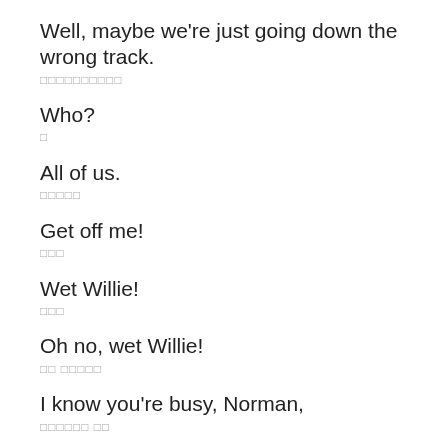Well, maybe we're just going down the wrong track.
□□□□□□□□□□
Who?
□
All of us.
□□□□□
Get off me!
□□□
Wet Willie!
□□□
Oh no, wet Willie!
□□ □□□□□
I know you're busy, Norman,
□□□□□□ □□
I won't take up much of your time
□□□□□□□□□□
but I really think you should hear this